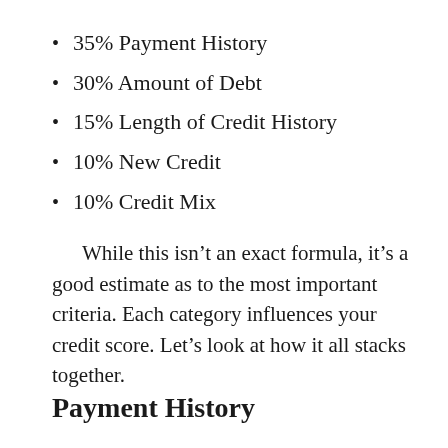35% Payment History
30% Amount of Debt
15% Length of Credit History
10% New Credit
10% Credit Mix
While this isn't an exact formula, it's a good estimate as to the most important criteria. Each category influences your credit score. Let's look at how it all stacks together.
Payment History